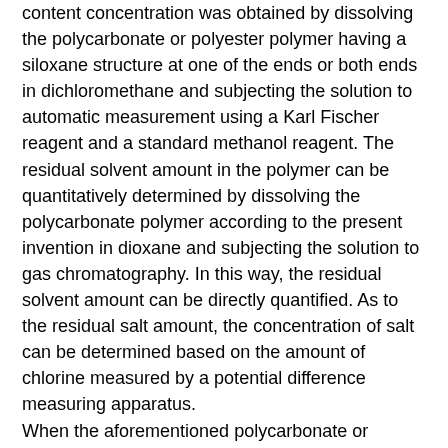content concentration was obtained by dissolving the polycarbonate or polyester polymer having a siloxane structure at one of the ends or both ends in dichloromethane and subjecting the solution to automatic measurement using a Karl Fischer reagent and a standard methanol reagent. The residual solvent amount in the polymer can be quantitatively determined by dissolving the polycarbonate polymer according to the present invention in dioxane and subjecting the solution to gas chromatography. In this way, the residual solvent amount can be directly quantified. As to the residual salt amount, the concentration of salt can be determined based on the amount of chlorine measured by a potential difference measuring apparatus. When the aforementioned polycarbonate or polyester polymer having a siloxane structure at one of the ends or both ends is localized near the surface of a surface layer, even in a small amount, excellent lubricity and strength can be obtained; however, the polycarbonate or polyester polymer is preferably used in combination with a resin having more excellent strength. The mixing ratio of the polycarbonate or polyester polymer having a